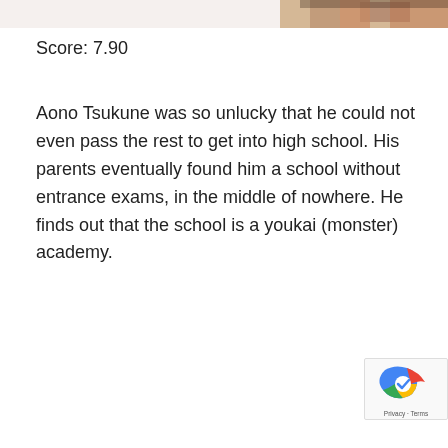[Figure (photo): Partial view of a person's face/neck, cropped at top of page, color photo strip]
Score: 7.90
Aono Tsukune was so unlucky that he could not even pass the rest to get into high school. His parents eventually found him a school without entrance exams, in the middle of nowhere. He finds out that the school is a youkai (monster) academy.
[Figure (other): reCAPTCHA badge with colorful logo and Privacy/Terms links at bottom right corner]